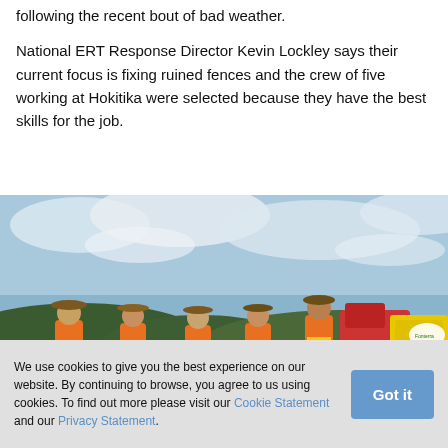following the recent bout of bad weather. National ERT Response Director Kevin Lockley says their current focus is fixing ruined fences and the crew of five working at Hokitika were selected because they have the best skills for the job.
[Figure (photo): Five workers in orange high-visibility shirts standing in a field, holding a fence rail, with a red tractor and a yellow Fonterra vehicle in the background under a partly cloudy sky.]
We use cookies to give you the best experience on our website. By continuing to browse, you agree to us using cookies. To find out more please visit our Cookie Statement and our Privacy Statement.